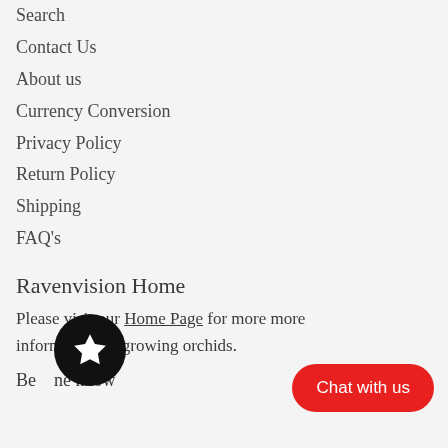Search
Contact Us
About us
Currency Conversion
Privacy Policy
Return Policy
Shipping
FAQ's
Ravenvision Home
Please visit our Home Page for more more information on growing orchids.
Be ne know